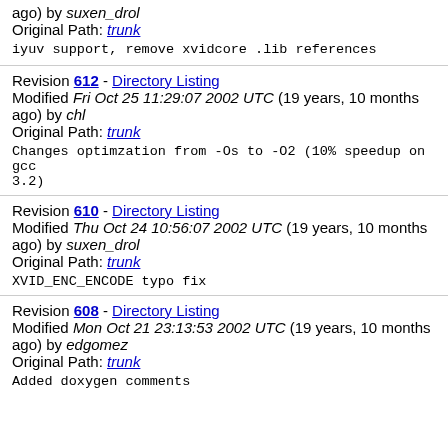ago) by suxen_drol
Original Path: trunk
iyuv support, remove xvidcore .lib references
Revision 612 - Directory Listing
Modified Fri Oct 25 11:29:07 2002 UTC (19 years, 10 months ago) by chl
Original Path: trunk
Changes optimzation from -Os to -O2 (10% speedup on gcc 3.2)
Revision 610 - Directory Listing
Modified Thu Oct 24 10:56:07 2002 UTC (19 years, 10 months ago) by suxen_drol
Original Path: trunk
XVID_ENC_ENCODE typo fix
Revision 608 - Directory Listing
Modified Mon Oct 21 23:13:53 2002 UTC (19 years, 10 months ago) by edgomez
Original Path: trunk
Added doxygen comments